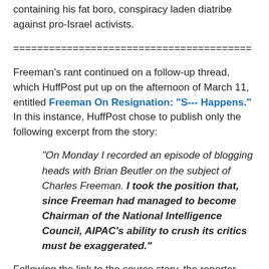containing his fat boro, conspiracy laden diatribe against pro-Israel activists.
========================================
Freeman's rant continued on a follow-up thread, which HuffPost put up on the afternoon of March 11, entitled Freeman On Resignation: "S--- Happens." In this instance, HuffPost chose to publish only the following excerpt from the story:
"On Monday I recorded an episode of blogging heads with Brian Beutler on the subject of Charles Freeman. I took the position that, since Freeman had managed to become Chairman of the National Intelligence Council, AIPAC's ability to crush its critics must be exaggerated."
Following the link to the source story, the reporter continued: